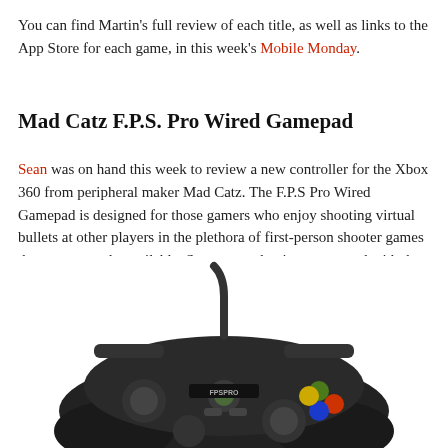You can find Martin's full review of each title, as well as links to the App Store for each game, in this week's Mobile Monday.
Mad Catz F.P.S. Pro Wired Gamepad
Sean was on hand this week to review a new controller for the Xbox 360 from peripheral maker Mad Catz. The F.P.S Pro Wired Gamepad is designed for those gamers who enjoy shooting virtual bullets at other players in the plethora of first-person shooter games that are currently available. Sean seemed quite enamoured with the controller, saying it is now his “controller of choice for the Xbox 360” and that the “triggers, analogue sticks and D-Pad all repres... improvement” in his gamep...
[Figure (photo): Mad Catz F.P.S. Pro Wired Gamepad for Xbox 360, black controller with colored buttons]
[Figure (screenshot): Video overlay showing Sustainable Stream logo with play button and teal progress bar on dark background]